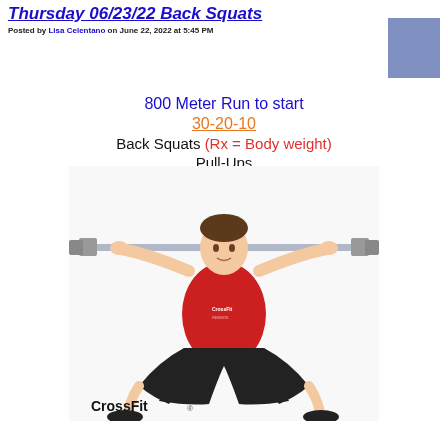Thursday 06/23/22 Back Squats
Posted by Lisa Celentano on June 22, 2022 at 5:45 PM
800 Meter Run to start
30-20-10
Back Squats (Rx = Body weight)
Pull-Ups
[Figure (photo): A man wearing a red CrossFit shirt and black shorts performing a back squat with a barbell across his shoulders. The CrossFit logo is visible in the bottom left of the image. White background.]